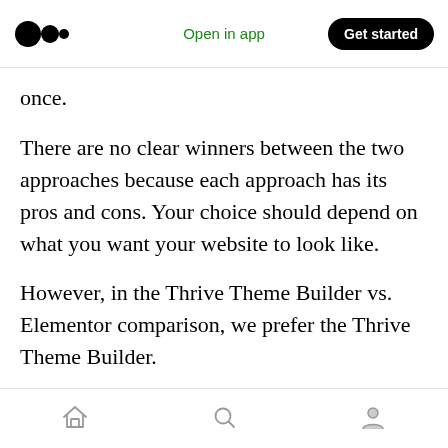Medium app header with logo, Open in app, Get started
once.
There are no clear winners between the two approaches because each approach has its pros and cons. Your choice should depend on what you want your website to look like.
However, in the Thrive Theme Builder vs. Elementor comparison, we prefer the Thrive Theme Builder.
It has the option to change elements globally or by section, and there are options for
Bottom navigation bar with home, search, and profile icons